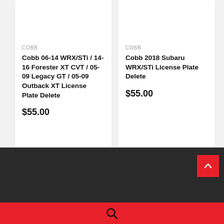COBB
Cobb 06-14 WRX/STi / 14-16 Forester XT CVT / 05-09 Legacy GT / 05-09 Outback XT License Plate Delete
$55.00
COBB
Cobb 2018 Subaru WRX/STi License Plate Delete
$55.00
[Figure (screenshot): Carousel navigation dots, 5 dots with first one active/filled]
[Figure (screenshot): Dark footer area with red back-to-top button (chevron up) and red search bar with magnifying glass icon]